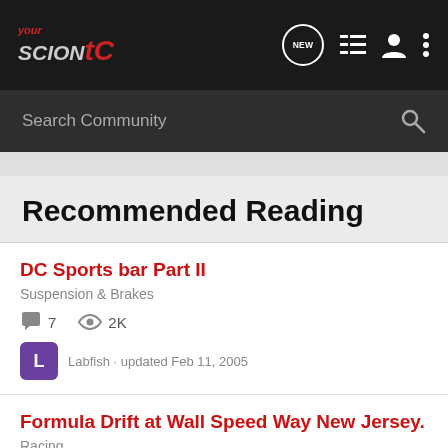your Scion tC - Navigation bar with NEW, list, user, and menu icons
Search Community
Recommended Reading
DC Sports bar Part II
Suspension & Brakes
7 comments · 2K views
Labfish · updated Feb 11, 2005
Formula Drift at Wall Speed Way New Jersey.
Racing
2 comments · 1K views